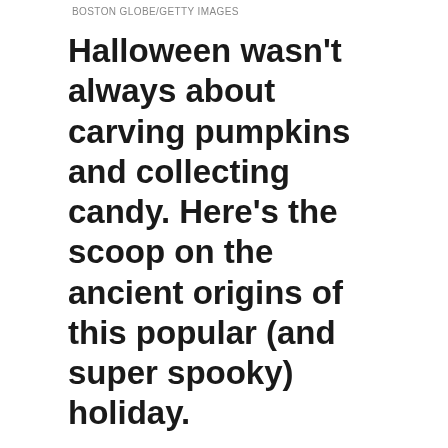BOSTON GLOBE/GETTY IMAGES
Halloween wasn't always about carving pumpkins and collecting candy. Here's the scoop on the ancient origins of this popular (and super spooky) holiday.
Trick-or-treating, Halloween parties, costumes, carving pumpkins, telling scary stories filled with monsters, and going to haunted houses—if you grew up celebrating Halloween, this is likely how you imagine October 31 always was, but the holiday has changed a lot over the years. In fact, if you were able to time-